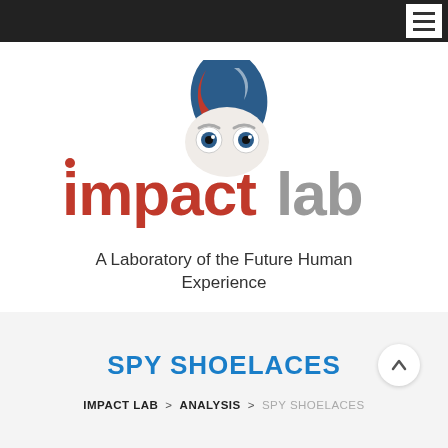[Figure (logo): Impact Lab logo: stylized character face with blue hair above the text 'impact lab' in red and gray, with tagline 'A Laboratory of the Future Human Experience']
SPY SHOELACES
IMPACT LAB > ANALYSIS > SPY SHOELACES